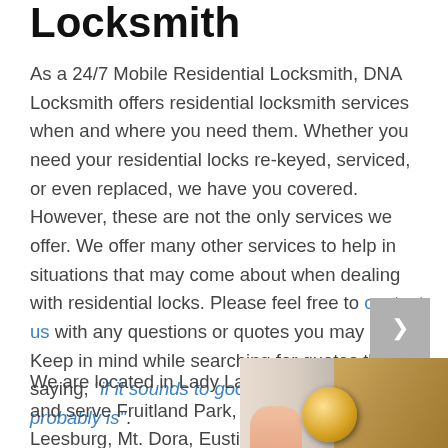Locksmith
As a 24/7 Mobile Residential Locksmith, DNA Locksmith offers residential locksmith services when and where you need them. Whether you need your residential locks re-keyed, serviced, or even replaced, we have you covered. However, these are not the only services we offer. We offer many other services to help in situations that may come about when dealing with residential locks. Please feel free to contact us with any questions or quotes you may need. Keep in mind while searching for quotes the old saying, “if it sounds to good to be true, it probably is”.
We are located in Lady Lake and serve Fruitland Park, Leesburg, Mt. Dora, Eustis, Summerfield, Weirsdale, The
[Figure (photo): Close-up photo of a gold/brass door knob or lock handle being touched by a hand, with a white door frame visible.]